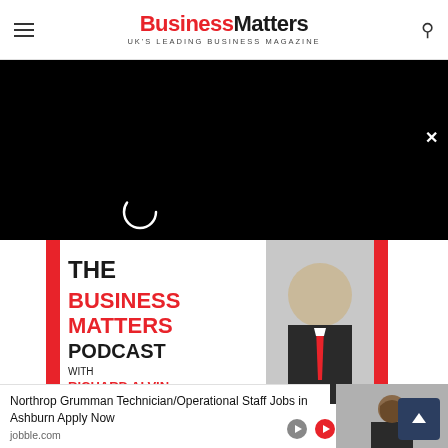Business Matters — UK'S LEADING BUSINESS MAGAZINE
[Figure (screenshot): Black video player overlay with loading spinner and close button (×)]
[Figure (photo): The Business Matters Podcast with Richard Alvin — promotional image showing podcast branding with red accents and a man in a suit with red tie]
Northrop Grumman Technician/Operational Staff Jobs in Ashburn Apply Now
jobble.com